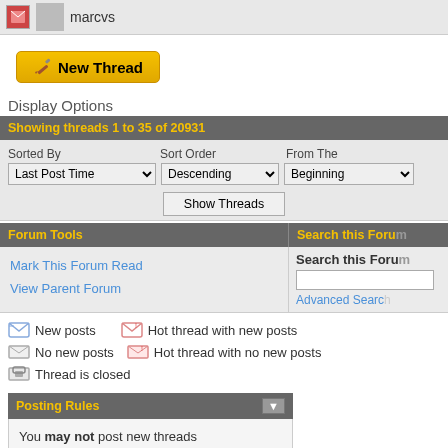marcvs
[Figure (screenshot): New Thread button with pencil icon, gold/yellow background]
Display Options
Showing threads 1 to 35 of 20931
Sorted By: Last Post Time | Sort Order: Descending | From The: Beginning | Show Threads
Forum Tools | Search this Forum
Mark This Forum Read
View Parent Forum
Search this Forum
Advanced Search
New posts
Hot thread with new posts
No new posts
Hot thread with no new posts
Thread is closed
Posting Rules
You may not post new threads
You may not post replies
You may not post attachments
You may not edit your posts
BB code is On